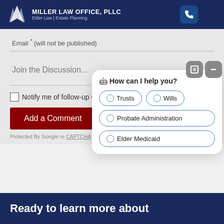Miller Law Office, PLLC — Elder Law | Estate Planning
Email * (will not be published)
Join the Discussion...
Notify me of follow-up comments via email.
Add a Comment
Protected By Google re CAPTCHA — Privacy — Terms
[Figure (screenshot): Chat widget overlay with title 'How can I help you?' and radio button options: Trusts, Wills, Probate Administration, Elder Medicaid]
Ready to learn more about